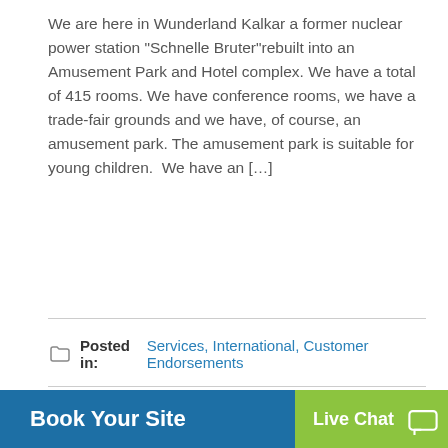We are here in Wunderland Kalkar a former nuclear power station “Schnelle Bruter”rebuilt into an Amusement Park and Hotel complex. We have a total of 415 rooms. We have conference rooms, we have a trade-fair grounds and we have, of course, an amusement park. The amusement park is suitable for young children.  We have an […]
Continue Reading →
Posted in: Services, International, Customer Endorsements
Leave a Comment (0) →
PAGE 1 OF 4  1  2  3  4
Book Your Site
Live Chat